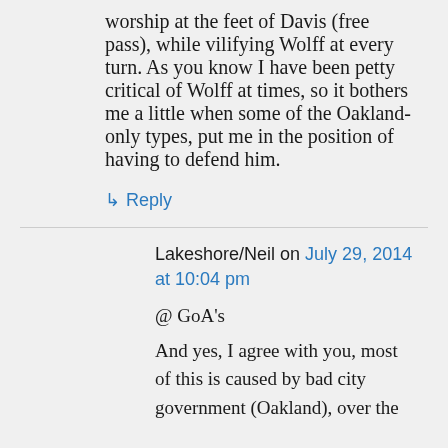worship at the feet of Davis (free pass), while vilifying Wolff at every turn. As you know I have been petty critical of Wolff at times, so it bothers me a little when some of the Oakland-only types, put me in the position of having to defend him.
↳ Reply
Lakeshore/Neil on July 29, 2014 at 10:04 pm
@ GoA's
And yes, I agree with you, most of this is caused by bad city government (Oakland), over the